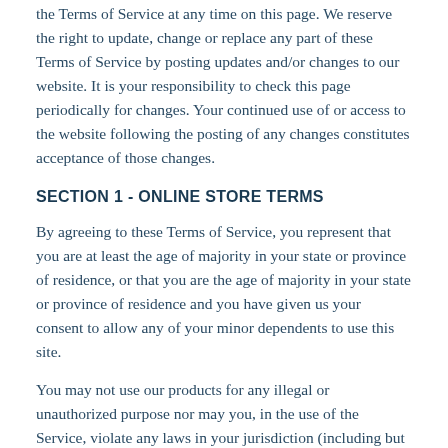the Terms of Service at any time on this page. We reserve the right to update, change or replace any part of these Terms of Service by posting updates and/or changes to our website. It is your responsibility to check this page periodically for changes. Your continued use of or access to the website following the posting of any changes constitutes acceptance of those changes.
SECTION 1 - ONLINE STORE TERMS
By agreeing to these Terms of Service, you represent that you are at least the age of majority in your state or province of residence, or that you are the age of majority in your state or province of residence and you have given us your consent to allow any of your minor dependents to use this site.
You may not use our products for any illegal or unauthorized purpose nor may you, in the use of the Service, violate any laws in your jurisdiction (including but not limited to copyright laws).